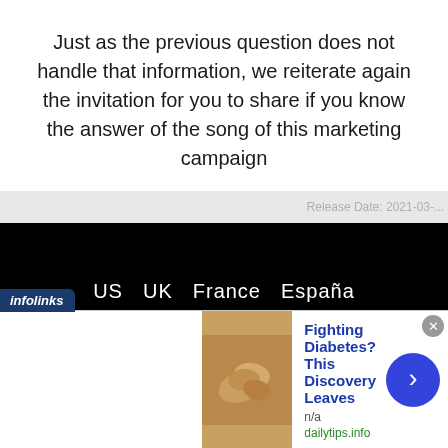Just as the previous question does not handle that information, we reiterate again the invitation for you to share if you know the answer of the song of this marketing campaign
Release Date: 2021-03-...
[Figure (screenshot): Dark footer section with navigation links: US UK France España, and text 'All rights reserved Aban Sof C.A.' with social media icons below]
[Figure (infographic): Infolinks advertisement bar with cashew nuts image, title 'Fighting Diabetes? This Discovery Leaves', source 'n/a', URL 'dailytips.info', with blue arrow button and close X button]